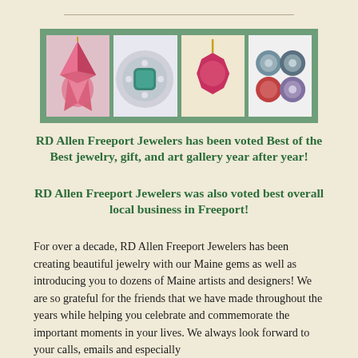[Figure (photo): Four jewelry photos arranged in a horizontal strip with green background: pink druzy pendant, teal gemstone diamond halo ring, pink cushion-cut gemstone pendant, and colorful beads/charms]
RD Allen Freeport Jewelers has been voted Best of the Best jewelry, gift, and art gallery year after year!
RD Allen Freeport Jewelers was also voted best overall local business in Freeport!
For over a decade, RD Allen Freeport Jewelers has been creating beautiful jewelry with our Maine gems as well as introducing you to dozens of Maine artists and designers! We are so grateful for the friends that we have made throughout the years while helping you celebrate and commemorate the important moments in your lives. We always look forward to your calls, emails and especially